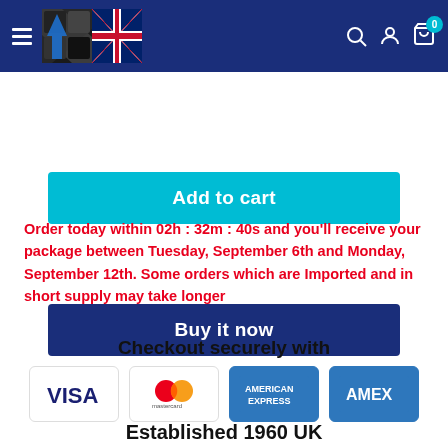[Figure (screenshot): Website navigation header with dark blue background, hamburger menu, UK flag logo, search, user, and cart icons]
Add to cart
Buy it now
Order today within 02h : 32m : 40s and you'll receive your package between Tuesday, September 6th and Monday, September 12th. Some orders which are Imported and in short supply may take longer
Checkout securely with
[Figure (logo): Payment method logos: VISA, Mastercard, American Express, AMEX]
Established 1960 UK